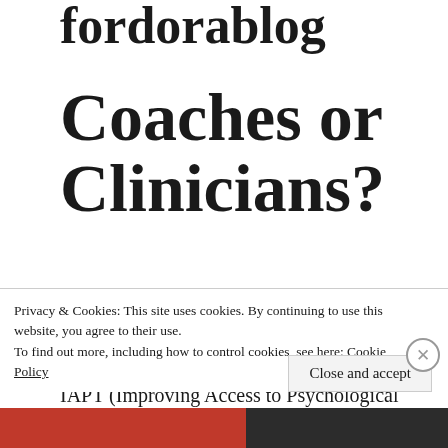fordorablog
Coaches or Clinicians?
I've recently started training to become a Psychological Wellbeing Practitioner in an IAPT (Improving Access to Psychological Therapies) service, and what that means is
Privacy & Cookies: This site uses cookies. By continuing to use this website, you agree to their use. To find out more, including how to control cookies, see here: Cookie Policy
Close and accept